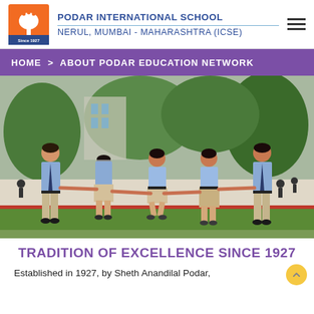PODAR INTERNATIONAL SCHOOL
NERUL, MUMBAI - MAHARASHTRA (ICSE)
HOME > ABOUT PODAR EDUCATION NETWORK
[Figure (photo): Five school children in uniforms holding hands and running/walking on grass, with trees and a mural in the background.]
TRADITION OF EXCELLENCE SINCE 1927
Established in 1927, by Sheth Anandilal Podar,